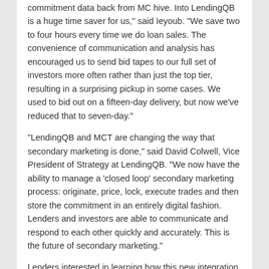commitment data back from MCT hive. Into LendingQB is a huge time saver for us," said Ieyoub. "We save two to four hours every time we do loan sales. The convenience of communication and analysis has encouraged us to send bid tapes to our full set of investors more often rather than just the top tier, resulting in a surprising pickup in some cases. We used to bid out on a fifteen-day delivery, but now we've reduced that to seven-day."
"LendingQB and MCT are changing the way that secondary marketing is done," said David Colwell, Vice President of Strategy at LendingQB. "We now have the ability to manage a 'closed loop' secondary marketing process: originate, price, lock, execute trades and then store the commitment in an entirely digital fashion. Lenders and investors are able to communicate and respond to each other quickly and accurately. This is the future of secondary marketing."
Lenders interested in learning how this new integration can improve their secondary marketing processes are encouraged to request a demonstration.
About MCT:
Founded in 2001, Mortgage Capital Trading, Inc. (MCT) has grown from a boutique mortgage pipeline hedging firm into the industry's leading provider of fully-integrated capital markets